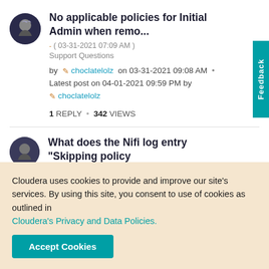No applicable policies for Initial Admin when remo...
- ( 03-31-2021 07:09 AM )
Support Questions
by choclatelolz on 03-31-2021 09:08 AM  •
Latest post on 04-01-2021 09:59 PM by choclatelolz
1 REPLY  •  342 VIEWS
What does the Nifi log entry "Skipping policy
Cloudera uses cookies to provide and improve our site's services. By using this site, you consent to use of cookies as outlined in Cloudera's Privacy and Data Policies.
Accept Cookies